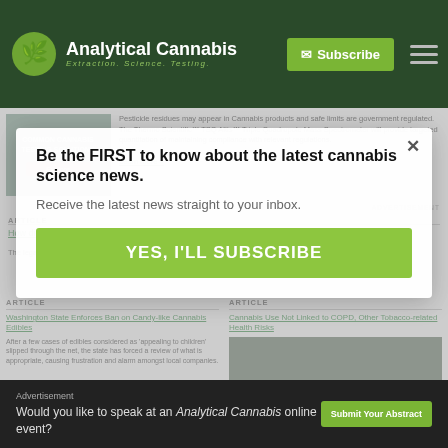Analytical Cannabis — Extraction. Science. Testing.
Pesticide residues may appear in Cannabis products and safe limits are government regulated. The Thermo Scientific™ TSQ Altis™ Triple Quadrupole Mass Spectrometer will provide targeted quantitation of maintaining compliance with relevant regulations.
ARTICLE
How did Cannabis do in the Midterms?
The legalization of cannabis, which is often linked to polarizing results in a range of results across the country
Be the FIRST to know about the latest cannabis science news.
Receive the latest news straight to your inbox.
YES, I'LL SUBSCRIBE
ARTICLE
Washington State Enforces Ban on Candy-like Cannabis Edibles
After a few cases of edibles considered as 'appealing to children' slipped through the net, the state has forced a review of what is appropriate, causing frustration and alarm amongst local companies.
ARTICLE
Cannabis Use Not Linked to COPD, Other Tobacco-related Health Risks
Advertisement
Would you like to speak at an Analytical Cannabis online event?
Submit Your Abstract